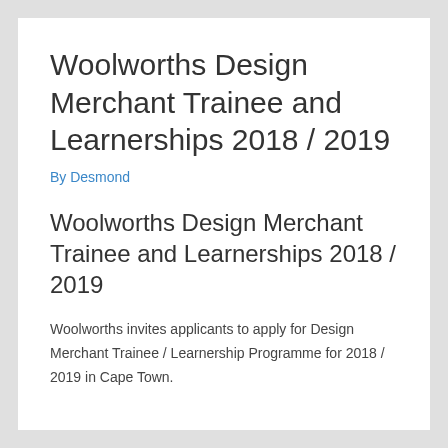Woolworths Design Merchant Trainee and Learnerships 2018 / 2019
By Desmond
Woolworths Design Merchant Trainee and Learnerships 2018 / 2019
Woolworths invites applicants to apply for Design Merchant Trainee / Learnership Programme for 2018 / 2019 in Cape Town.